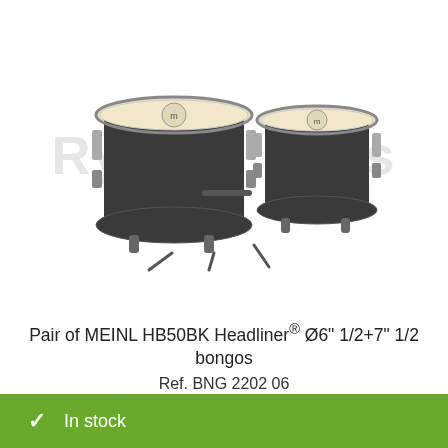[Figure (photo): Pair of dark-colored MEINL bongo drums with drumheads visible, positioned side by side on a white background with a faint watermark reading 'Ry...ons' behind the image.]
Pair of MEINL HB50BK Headliner® Ø6" 1/2+7" 1/2 bongos
Ref. BNG 2202 06
79.17€ Excl.VAT
✓  In stock